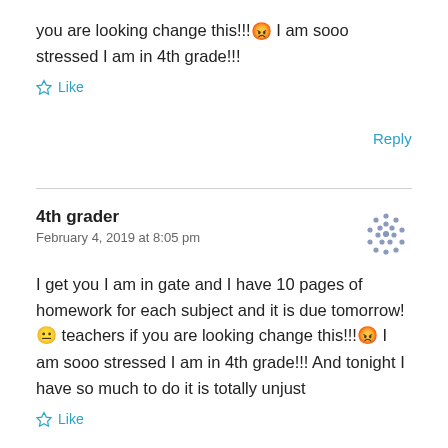you are looking change this!!! 😡 I am sooo stressed I am in 4th grade!!!
★ Like
Reply
4th grader
February 4, 2019 at 8:05 pm
I get you I am in gate and I have 10 pages of homework for each subject and it is due tomorrow! 😐 teachers if you are looking change this!!! 😡 I am sooo stressed I am in 4th grade!!! And tonight I have so much to do it is totally unjust
★ Like